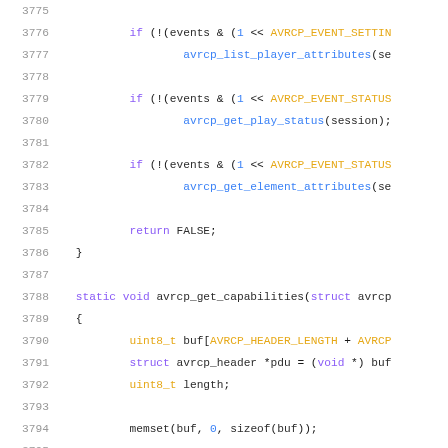[Figure (screenshot): Source code listing showing C code for AVRCP audio/video remote control profile, lines 3775-3796, with syntax highlighting. Shows conditional checks for events, avrcp function calls, return statement, closing brace, and start of avrcp_get_capabilities static void function with variable declarations and memset call.]